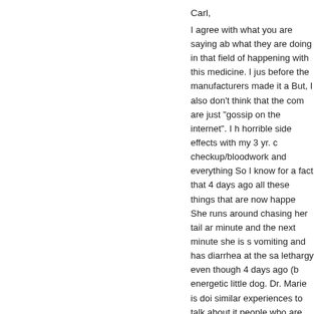Carl,
I agree with what you are saying about what they are doing in that field of happening with this medicine. I just before the manufacturers made it a But, I also don't think that the comm are just “gossip on the internet”. I h horrible side effects with my 3 yr. c checkup/bloodwork and everything So I know for a fact that 4 days ago all these things that are now happe She runs around chasing her tail ar minute and the next minute she is s vomiting and has diarrhea at the sa lethargy even though 4 days ago (b energetic little dog. Dr. Marie is doi similar experiences to talk about it people who are truly concerned ab family.